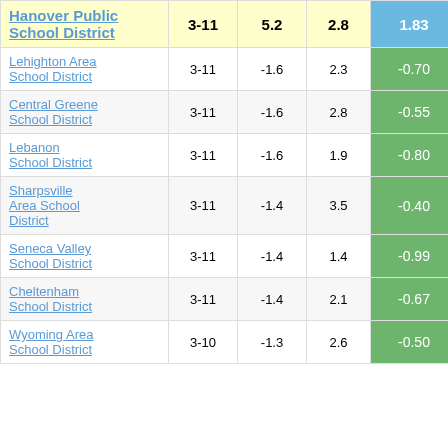| District | Grades | Col1 | Col2 | Highlighted | Extra |
| --- | --- | --- | --- | --- | --- |
| Hanover Public School District | 3-11 | 5.2 | 2.8 | 1.83 | 5 |
| Lehighton Area School District | 3-11 | -1.6 | 2.3 | -0.70 |  |
| Central Greene School District | 3-11 | -1.6 | 2.8 | -0.55 |  |
| Lebanon School District | 3-11 | -1.6 | 1.9 | -0.80 |  |
| Sharpsville Area School District | 3-11 | -1.4 | 3.5 | -0.40 |  |
| Seneca Valley School District | 3-11 | -1.4 | 1.4 | -0.99 |  |
| Cheltenham School District | 3-11 | -1.4 | 2.1 | -0.67 |  |
| Wyoming Area School District | 3-10 | -1.3 | 2.6 | -0.50 |  |